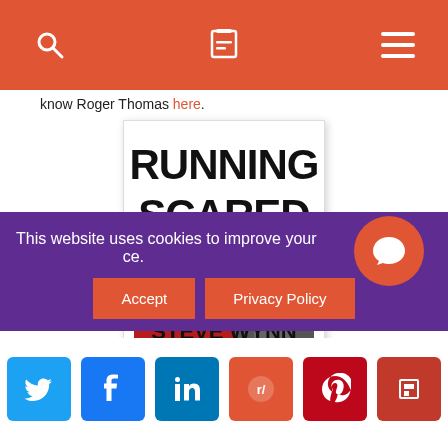Navigation bar with search, cart, and menu icons
know Roger Thomas here.
[Figure (photo): Book cover of 'Running Scared: The Life and Treacherous Times of Las Vegas Casino King Steve Wynn' by John L. Smith. Bold black text on white for title, red panel with white text subtitle, black and white photo of a man's profile.]
This website uses cookies to improve your ce.
Accept
Privacy Policy
[Figure (other): Orange circular chat/message button]
Social share buttons: Twitter, Facebook, LinkedIn, Reddit, Pinterest, Flipboard